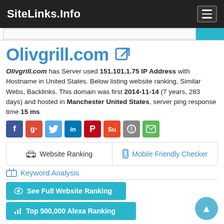SiteLinks.Info
Olivgrill.com
Olivgrill.com has Server used 151.101.1.75 IP Address with Hostname in United States. Below listing website ranking, Similar Webs, Backlinks. This domain was first 2014-11-14 (7 years, 283 days) and hosted in Manchester United States, server ping response time 15 ms
[Figure (other): Social sharing buttons: Facebook, Google+, Twitter, LinkedIn, Pinterest, StumbleUpon, Reddit, Email]
Website Ranking
Mobile Friendly Checker
Keyword Analysis
See Full Website Ranking
Top 500,000 Alexa Ranking